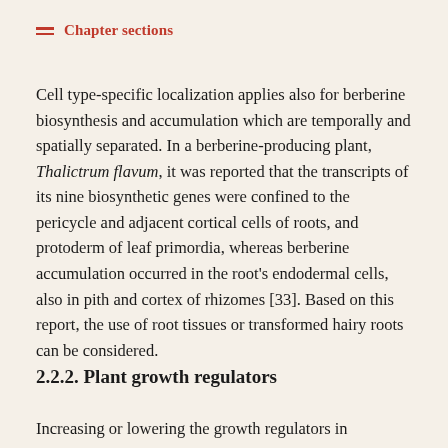Chapter sections
Cell type-specific localization applies also for berberine biosynthesis and accumulation which are temporally and spatially separated. In a berberine-producing plant, Thalictrum flavum, it was reported that the transcripts of its nine biosynthetic genes were confined to the pericycle and adjacent cortical cells of roots, and protoderm of leaf primordia, whereas berberine accumulation occurred in the root's endodermal cells, also in pith and cortex of rhizomes [33]. Based on this report, the use of root tissues or transformed hairy roots can be considered.
2.2.2. Plant growth regulators
Increasing or lowering the growth regulators in